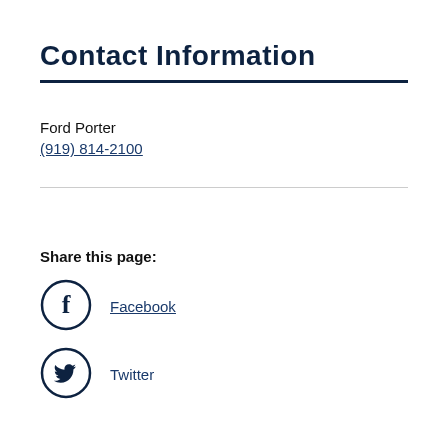Contact Information
Ford Porter
(919) 814-2100
Share this page:
[Figure (other): Facebook circle icon with letter f]
Facebook
[Figure (other): Twitter circle icon with bird logo]
Twitter